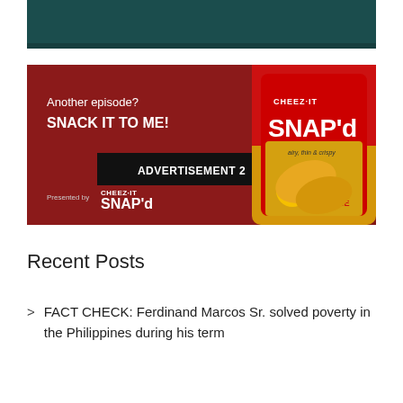[Figure (photo): Dark teal/green background image strip at the top of the page]
[Figure (photo): Cheez-It SNAP'd advertisement with red background. Left side reads 'Another episode? SNACK IT TO ME!' with a black banner saying 'ADVERTISEMENT 2'. Bottom left shows 'Presented by CHEEZ-IT SNAP'd'. Right side shows a package of Cheez-It SNAP'd Double Cheese crackers.]
Recent Posts
FACT CHECK: Ferdinand Marcos Sr. solved poverty in the Philippines during his term